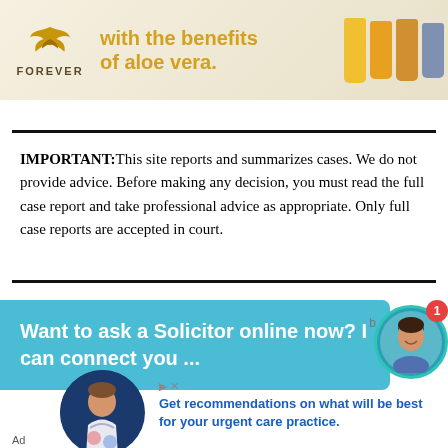[Figure (photo): Forever Living advertisement banner showing a golden bird logo, text 'with the benefits of aloe vera.' over 'YOUR BODY', and product bottles on right]
IMPORTANT:This site reports and summarizes cases. We do not provide advice. Before making any decision, you must read the full case report and take professional advice as appropriate. Only full case reports are accepted in court.
[Figure (screenshot): Teal chat widget with text 'Want to ask a Solicitor online now? I can connect you ...' with a smiling woman avatar and notification badge showing 1]
[Figure (screenshot): Advertisement showing a doctor with text 'Get recommendations on what will be best for your urgent care practice.' with Ad label at bottom]